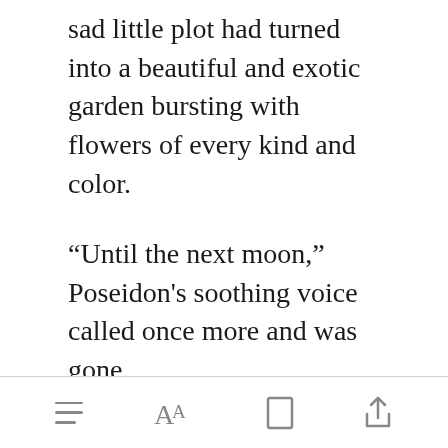sad little plot had turned into a beautiful and exotic garden bursting with flowers of every kind and color.
“Until the next moon,” Poseidon's soothing voice called once more and was gone.
Poseidon, as promised, appeared every night of [Open in app] moon, looking
[toolbar icons: list, font size, bookmark, share]